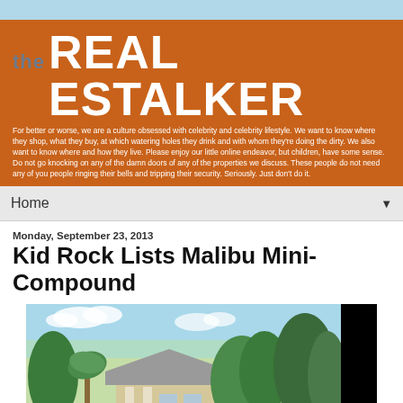the REAL ESTALKER
For better or worse, we are a culture obsessed with celebrity and celebrity lifestyle. We want to know where they shop, what they buy, at which watering holes they drink and with whom they're doing the dirty. We also want to know where and how they live. Please enjoy our little online endeavor, but children, have some sense. Do not go knocking on any of the damn doors of any of the properties we discuss. These people do not need any of you people ringing their bells and tripping their security. Seriously. Just don't do it.
Home
Monday, September 23, 2013
Kid Rock Lists Malibu Mini-Compound
[Figure (photo): Exterior photo of a house in Malibu with tropical trees and vegetation, blue sky with clouds, partially cut off on the right by a black rectangle]